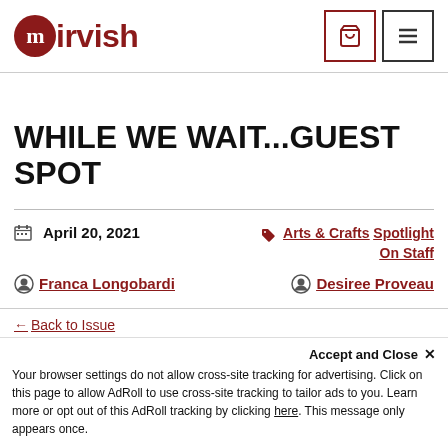mirvish
WHILE WE WAIT...GUEST SPOT
April 20, 2021
Arts & Crafts Spotlight On Staff
Franca Longobardi
Desiree Proveau
Back to Issue
Accept and Close ×
Your browser settings do not allow cross-site tracking for advertising. Click on this page to allow AdRoll to use cross-site tracking to tailor ads to you. Learn more or opt out of this AdRoll tracking by clicking here. This message only appears once.